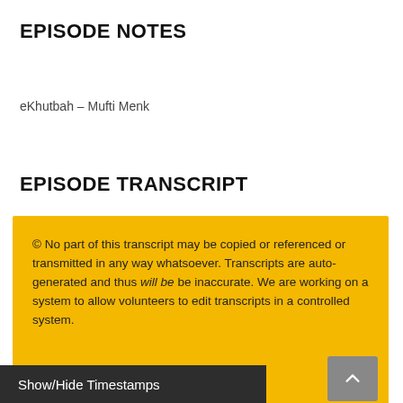EPISODE NOTES
eKhutbah – Mufti Menk
EPISODE TRANSCRIPT
© No part of this transcript may be copied or referenced or transmitted in any way whatsoever. Transcripts are auto-generated and thus will be be inaccurate. We are working on a system to allow volunteers to edit transcripts in a controlled system.
Show/Hide Timestamps